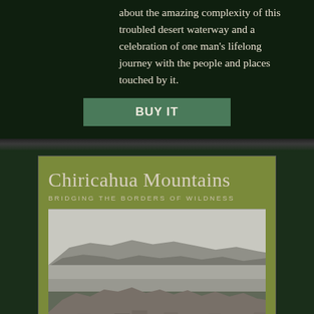about the amazing complexity of this troubled desert waterway and a celebration of one man's lifelong journey with the people and places touched by it.
BUY IT
Chiricahua Mountains
BRIDGING THE BORDERS OF WILDNESS
[Figure (photo): Black and white photograph of Chiricahua Mountains landscape showing rocky formations in foreground and mountain ranges in background]